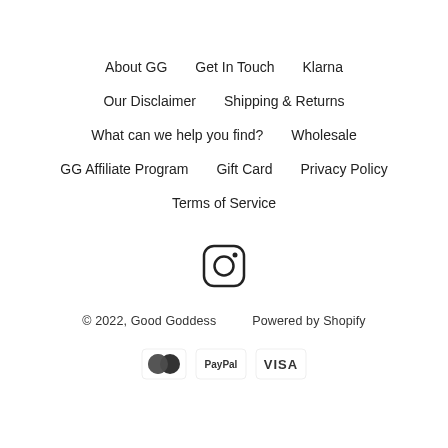About GG
Get In Touch
Klarna
Our Disclaimer
Shipping & Returns
What can we help you find?
Wholesale
GG Affiliate Program
Gift Card
Privacy Policy
Terms of Service
[Figure (logo): Instagram icon - rounded square with circle and dot]
© 2022, Good Goddess    Powered by Shopify
[Figure (other): Payment icons: Mastercard, PayPal, Visa]